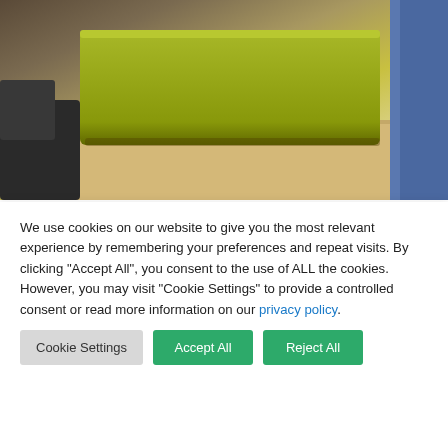[Figure (photo): Partial photo showing a yellow-green padded laptop case or folder on a wooden surface, with a dark chair in the background and partial view of a person in jeans.]
Network assurance, rewritten by experts
Meet the team
We use cookies on our website to give you the most relevant experience by remembering your preferences and repeat visits. By clicking “Accept All”, you consent to the use of ALL the cookies. However, you may visit “Cookie Settings” to provide a controlled consent or read more information on our privacy policy.
Cookie Settings | Accept All | Reject All